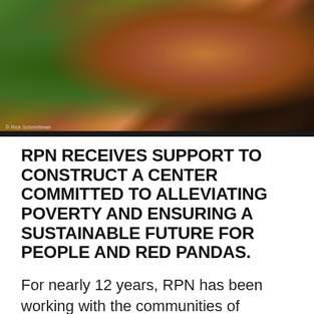[Figure (photo): A red panda clinging to a tree branch, reaching toward green bamboo leaves. The animal has distinctive reddish-brown fur. Photo credit visible in lower left corner.]
RPN RECEIVES SUPPORT TO CONSTRUCT A CENTER COMMITTED TO ALLEVIATING POVERTY AND ENSURING A SUSTAINABLE FUTURE FOR PEOPLE AND RED PANDAS.
For nearly 12 years, RPN has been working with the communities of Panchthar-Ilam-